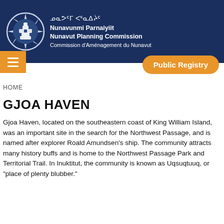[Figure (logo): Nunavut Planning Commission logo with compass rose and inukshuk icon, with text in syllabics, English and French]
HOME
GJOA HAVEN
Gjoa Haven, located on the southeastern coast of King William Island, was an important site in the search for the Northwest Passage, and is named after explorer Roald Amundsen's ship. The community attracts many history buffs and is home to the Northwest Passage Park and Territorial Trail. In Inuktitut, the community is known as Uqsuqtuuq, or "place of plenty blubber."